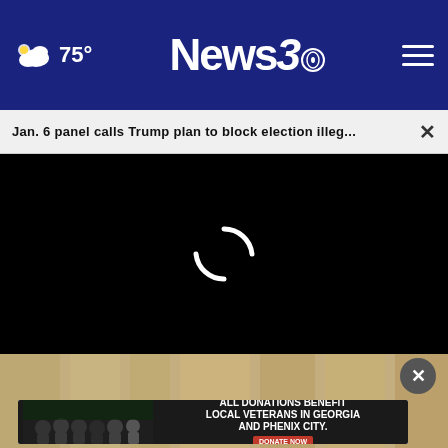75° News3
Jan. 6 panel calls Trump plan to block election illeg...
[Figure (screenshot): Black video player area with loading spinner (white circular arc) in the center, indicating a video is loading.]
[Figure (photo): Bottom portion showing a tan/wood-paneled background with people in dark uniforms. Advertisement overlay with close button and banner: ALL DONATIONS BENEFIT LOCAL VETERANS IN GEORGIA AND PHENIX CITY. DONATE NOW]
ALL DONATIONS BENEFIT LOCAL VETERANS IN GEORGIA AND PHENIX CITY. DONATE NOW